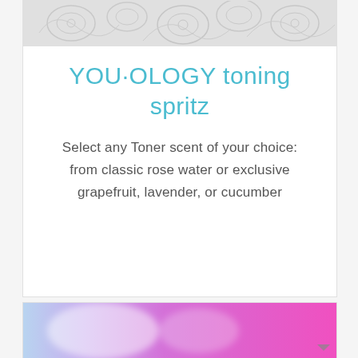[Figure (photo): White embossed floral/lace texture pattern at the top of the card]
YOU·OLOGY toning spritz
Select any Toner scent of your choice: from classic rose water or exclusive grapefruit, lavender, or cucumber
[Figure (photo): Colorful purple and pink blurred background image at the bottom card]